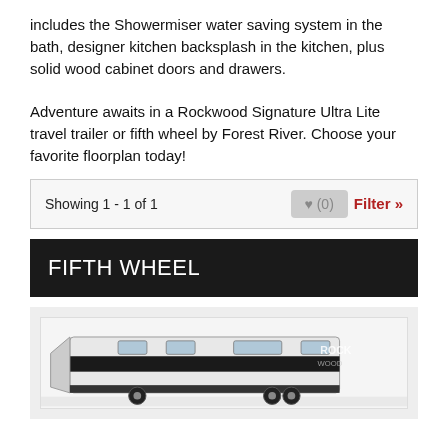includes the Showermiser water saving system in the bath, designer kitchen backsplash in the kitchen, plus solid wood cabinet doors and drawers.
Adventure awaits in a Rockwood Signature Ultra Lite travel trailer or fifth wheel by Forest River. Choose your favorite floorplan today!
Showing 1 - 1 of 1
FIFTH WHEEL
[Figure (photo): Partial view of a Rockwood branded RV/fifth wheel, showing the front and side with black and white/silver exterior finish. The Rockwood logo is partially visible.]